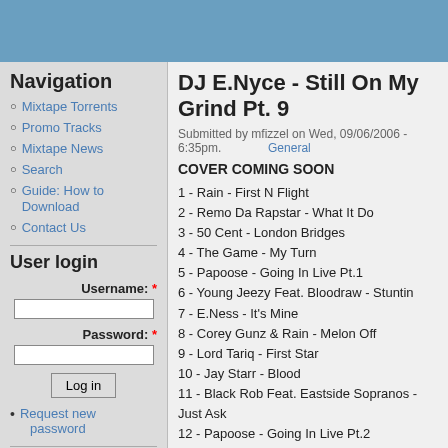Navigation
Mixtape Torrents
Promo Tracks
Mixtape News
Search
Guide: How to Download
Contact Us
User login
Username: *
Password: *
Log in
Request new password
DJ E.Nyce - Still On My Grind Pt. 9
Submitted by mfizzel on Wed, 09/06/2006 - 6:35pm. General
COVER COMING SOON
1 - Rain - First N Flight
2 - Remo Da Rapstar - What It Do
3 - 50 Cent - London Bridges
4 - The Game - My Turn
5 - Papoose - Going In Live Pt.1
6 - Young Jeezy Feat. Bloodraw - Stuntin
7 - E.Ness - It's Mine
8 - Corey Gunz & Rain - Melon Off
9 - Lord Tariq - First Star
10 - Jay Starr - Blood
11 - Black Rob Feat. Eastside Sopranos - Just Ask
12 - Papoose - Going In Live Pt.2
13 - Uncle Murder - Ask Somebody
14 - Blockwork - Easy
15 - Papoose - Going In Live Pt.3
16 - Cassidy - What It Is
17 - Lupe Fiasco - Day Dreaming
18 - Saigon - Pain In My Life